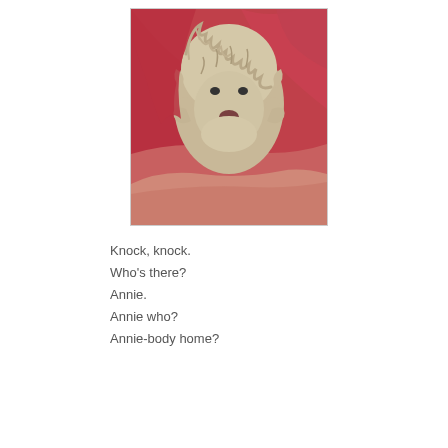[Figure (photo): A fluffy, scruffy dog peeking out from under red fabric/blanket, close-up of face with messy fur and a pink nose, resting against what appears to be a person's arm, with a white border around the photo.]
Knock, knock.
Who's there?
Annie.
Annie who?
Annie-body home?